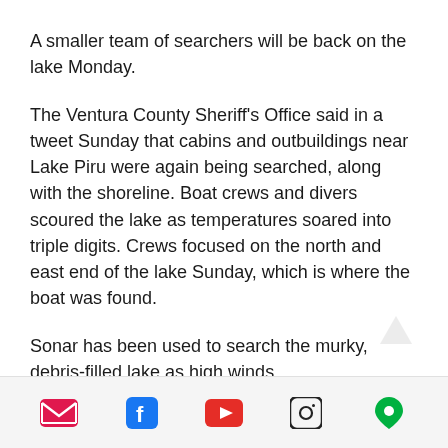A smaller team of searchers will be back on the lake Monday.
The Ventura County Sheriff's Office said in a tweet Sunday that cabins and outbuildings near Lake Piru were again being searched, along with the shoreline. Boat crews and divers scoured the lake as temperatures soared into triple digits. Crews focused on the north and east end of the lake Sunday, which is where the boat was found.
Sonar has been used to search the murky, debris-filled lake as high winds
Social media navigation icons: email, facebook, youtube, instagram, location